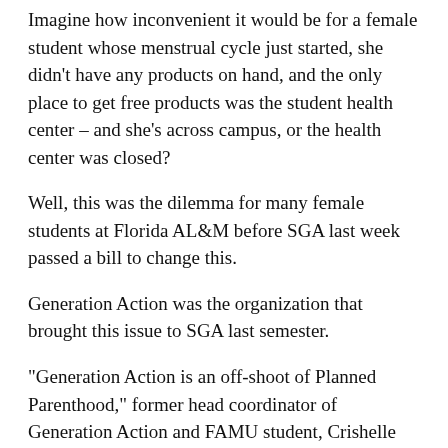Imagine how inconvenient it would be for a female student whose menstrual cycle just started, she didn't have any products on hand, and the only place to get free products was the student health center – and she's across campus, or the health center was closed?
Well, this was the dilemma for many female students at Florida AL&M before SGA last week passed a bill to change this.
Generation Action was the organization that brought this issue to SGA last semester.
“Generation Action is an off-shoot of Planned Parenthood,” former head coordinator of Generation Action and FAMU student, Crishelle Bailey said.
According to FAMU Campus Labs, the organization’s official name is Planned Parenthood Generation Action, or